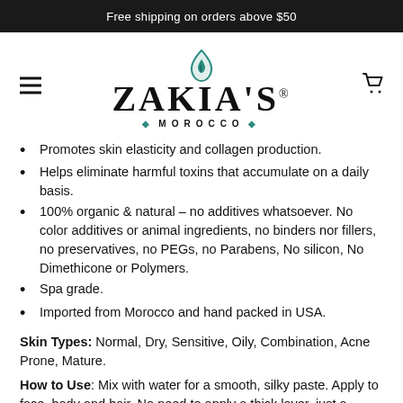Free shipping on orders above $50
[Figure (logo): Zakia's Morocco logo with teal droplet icon above ornate script text 'ZAKIA'S' and subtitle '◆ MOROCCO ◆']
Promotes skin elasticity and collagen production.
Helps eliminate harmful toxins that accumulate on a daily basis.
100% organic & natural – no additives whatsoever. No color additives or animal ingredients, no binders nor fillers, no preservatives, no PEGs, no Parabens, No silicon, No Dimethicone or Polymers.
Spa grade.
Imported from Morocco and hand packed in USA.
Skin Types: Normal, Dry, Sensitive, Oily, Combination, Acne Prone, Mature.
How to Use: Mix with water for a smooth, silky paste. Apply to face, body and hair. No need to apply a thick layer, just a